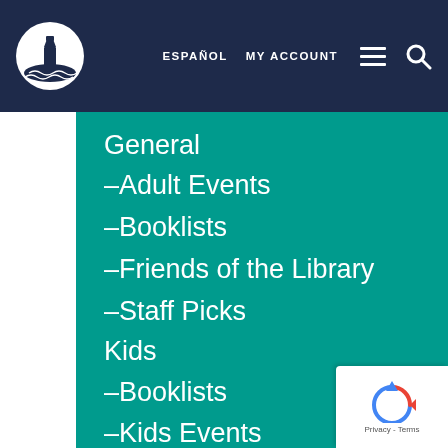[Figure (logo): Library logo: lighthouse over water in white circle on dark navy background]
ESPAÑOL  MY ACCOUNT
General
–Adult Events
–Booklists
–Friends of the Library
–Staff Picks
Kids
–Booklists
–Kids Events
–Teachers
Teens
–Booklists